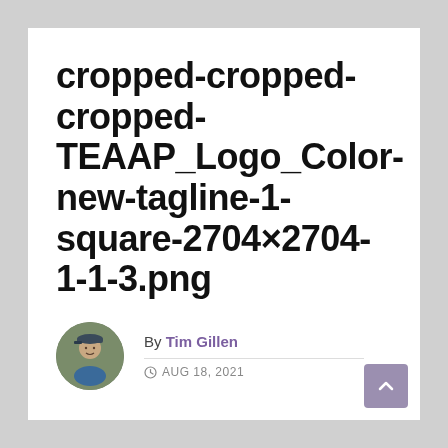cropped-cropped-cropped-TEAAP_Logo_Color-new-tagline-1-square-2704×2704-1-1-3.png
By Tim Gillen
AUG 18, 2021
[Figure (photo): Circular avatar photo of Tim Gillen, a man wearing a cap, outdoors]